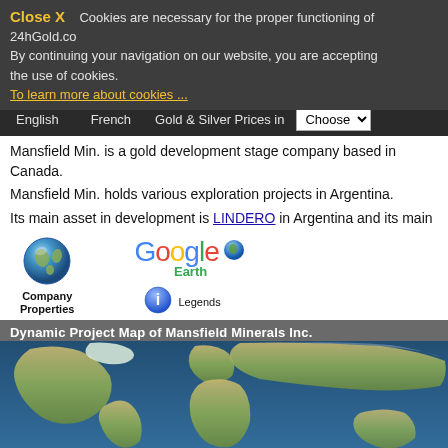Close X   Cookies are necessary for the proper functioning of 24hGold.com. By continuing your navigation on our website, you are accepting the use of cookies.
To learn more about cookies ...
English  French  Gold & Silver Prices in  Choose
Mansfield Min. is a gold development stage company based in Canada.
Mansfield Min. holds various exploration projects in Argentina.
Its main asset in development is LINDERO in Argentina and its main exploration p
[Figure (illustration): Google Earth globe icon with 'Company Properties' label below]
[Figure (logo): Google Earth logo with globe and text 'Google Earth']
[Figure (illustration): Info icon with 'Legends' label]
Dynamic Project Map of Mansfield Minerals Inc.
[Figure (map): Google Earth satellite map showing world continents]